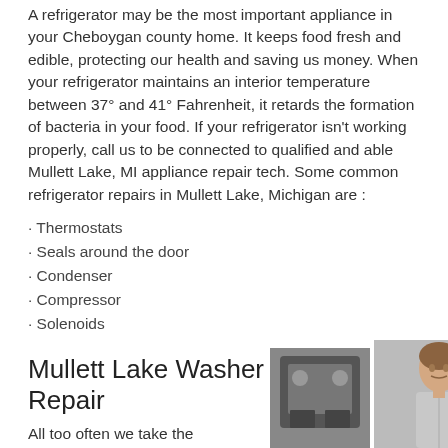A refrigerator may be the most important appliance in your Cheboygan county home. It keeps food fresh and edible, protecting our health and saving us money. When your refrigerator maintains an interior temperature between 37° and 41° Fahrenheit, it retards the formation of bacteria in your food. If your refrigerator isn't working properly, call us to be connected to qualified and able Mullett Lake, MI appliance repair tech. Some common refrigerator repairs in Mullett Lake, Michigan are :
· Thermostats
· Seals around the door
· Condenser
· Compressor
· Solenoids
Mullett Lake Washer & Dryer Repair
All too often we take the convenience of
[Figure (photo): Appliance (washer/dryer) image at bottom center]
[Figure (photo): Man in casual clothing at bottom right]